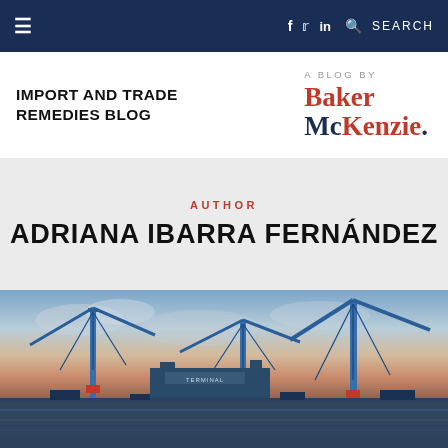≡  f  t  in  🔍 SEARCH
IMPORT AND TRADE REMEDIES BLOG
A BLOG BY Baker McKenzie.
AUTHOR
ADRIANA IBARRA FERNÁNDEZ
[Figure (photo): Port terminal at sunset with blue cargo cranes and shipping equipment against a dramatic sky]